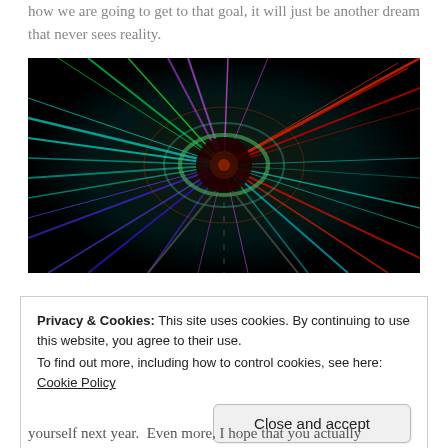how we are going to get to that goal, it will just be another dream that never sees reality.
[Figure (photo): A long-exposure photograph of a colorful tunnel with streaking lights in red, green, teal, blue, and purple radiating outward from a dark center, creating a warp-speed tunnel effect.]
Privacy & Cookies: This site uses cookies. By continuing to use this website, you agree to their use.
To find out more, including how to control cookies, see here: Cookie Policy
[Close and accept button]
yourself next year.  Even more, I hope that you actually